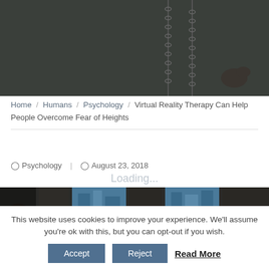[Figure (photo): Dark moody hero image with chains hanging and a silhouetted figure, dark grey/green background]
Home / Humans / Psychology / Virtual Reality Therapy Can Help People Overcome Fear of Heights
Psychology | August 23, 2018
Loading...
[Figure (photo): Article image showing person looking down from height with aerial city view through vertical planks]
This website uses cookies to improve your experience. We'll assume you're ok with this, but you can opt-out if you wish.
Accept   Reject   Read More